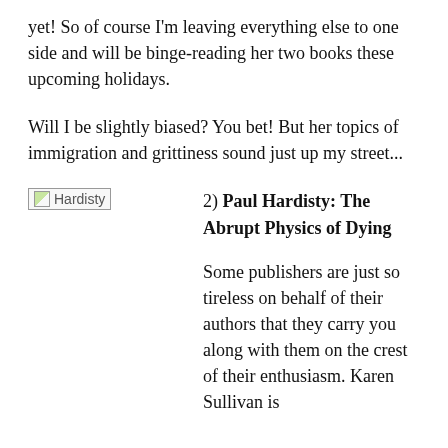yet! So of course I'm leaving everything else to one side and will be binge-reading her two books these upcoming holidays.
Will I be slightly biased? You bet! But her topics of immigration and grittiness sound just up my street...
[Figure (photo): Broken image placeholder labeled 'Hardisty']
2) Paul Hardisty: The Abrupt Physics of Dying
Some publishers are just so tireless on behalf of their authors that they carry you along with them on the crest of their enthusiasm. Karen Sullivan is